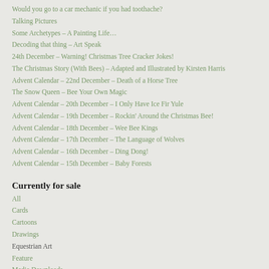Would you go to a car mechanic if you had toothache?
Talking Pictures
Some Archetypes – A Painting Life…
Decoding that thing – Art Speak
24th December – Warning! Christmas Tree Cracker Jokes!
The Christmas Story (With Bees) – Adapted and Illustrated by Kirsten Harris
Advent Calendar – 22nd December – Death of a Horse Tree
The Snow Queen – Bee Your Own Magic
Advent Calendar – 20th December – I Only Have Ice Fir Yule
Advent Calendar – 19th December – Rockin' Around the Christmas Bee!
Advent Calendar – 18th December – Wee Bee Kings
Advent Calendar – 17th December – The Language of Wolves
Advent Calendar – 16th December – Ding Dong!
Advent Calendar – 15th December – Baby Forests
Currently for sale
All
Cards
Cartoons
Drawings
Equestrian Art
Feature
Media Downloads
Other
Prints
Seascapes
Trees, Plants and Landscapes